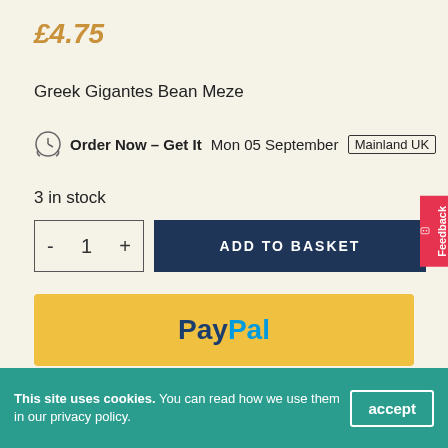£4.75
Greek Gigantes Bean Meze
Order Now – Get It Mon 05 September Mainland UK
3 in stock
ADD TO BASKET
[Figure (logo): PayPal button with yellow background]
[Figure (illustration): Row of decorative food/nature icons at bottom]
Feedback
This site uses cookies. You can read how we use them in our privacy policy.
accept